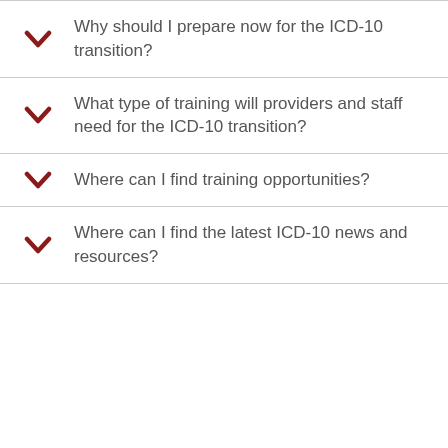Why should I prepare now for the ICD-10 transition?
What type of training will providers and staff need for the ICD-10 transition?
Where can I find training opportunities?
Where can I find the latest ICD-10 news and resources?